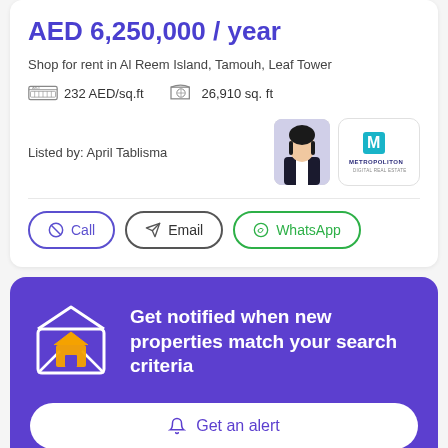AED 6,250,000 / year
Shop for rent in Al Reem Island, Tamouh, Leaf Tower
232 AED/sq.ft   26,910 sq. ft
Listed by: April Tablisma
[Figure (photo): Agent photo of April Tablisma and Metropolitan Real Estate agency logo]
Call   Email   WhatsApp
Get notified when new properties match your search criteria
Get an alert